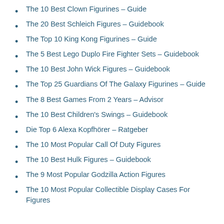The 10 Best Clown Figurines – Guide
The 20 Best Schleich Figures – Guidebook
The Top 10 King Kong Figurines – Guide
The 5 Best Lego Duplo Fire Fighter Sets – Guidebook
The 10 Best John Wick Figures – Guidebook
The Top 25 Guardians Of The Galaxy Figurines – Guide
The 8 Best Games From 2 Years – Advisor
The 10 Best Children's Swings – Guidebook
Die Top 6 Alexa Kopfhörer – Ratgeber
The 10 Most Popular Call Of Duty Figures
The 10 Best Hulk Figures – Guidebook
The 9 Most Popular Godzilla Action Figures
The 10 Most Popular Collectible Display Cases For Figures